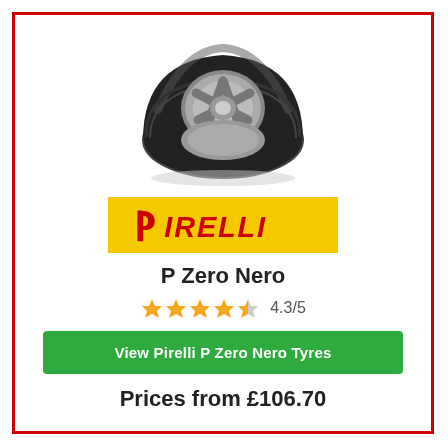[Figure (photo): Pirelli P Zero Nero tyre, angled view showing tread and silver alloy wheel centre]
[Figure (logo): Pirelli logo on yellow background with red italic text and P icon]
P Zero Nero
4.3/5 (star rating with 4 full stars and 1 half star)
View Pirelli P Zero Nero Tyres
Prices from £106.70